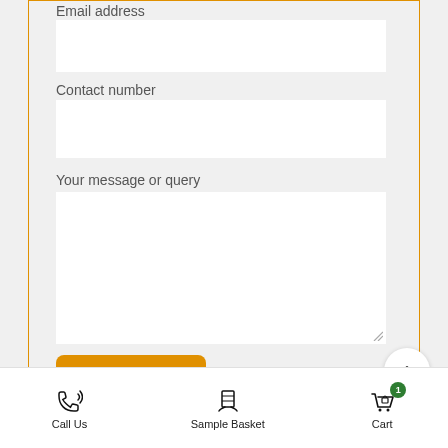Email address
Contact number
Your message or query
SUBMIT
Call Us   Sample Basket   Cart